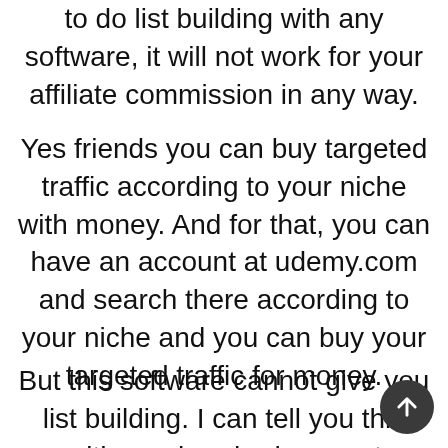to do list building with any software, it will not work for your affiliate commission in any way.
Yes friends you can buy targeted traffic according to your niche with money. And for that, you can have an account at udemy.com and search there according to your niche and you can buy your targeted traffic for money.
But this software cannot give you list building. I can tell you this with one hundred percent certainty. So friends, take